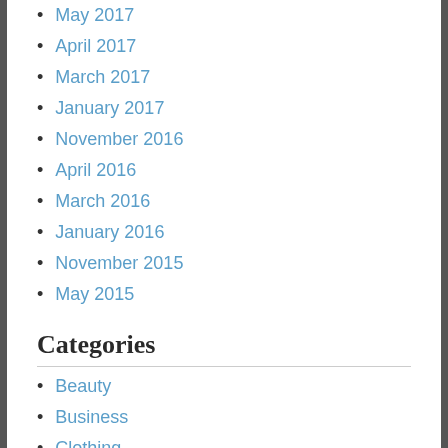May 2017
April 2017
March 2017
January 2017
November 2016
April 2016
March 2016
January 2016
November 2015
May 2015
Categories
Beauty
Business
Clothing
Construction
Employment
Flowers
Hair Salon
Health